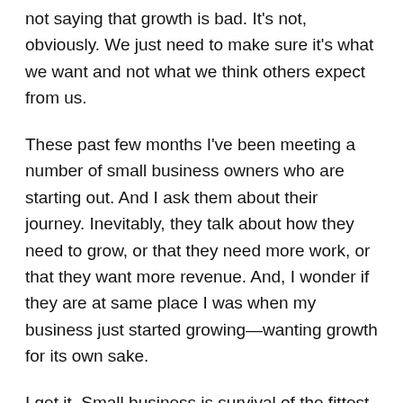not saying that growth is bad. It's not, obviously. We just need to make sure it's what we want and not what we think others expect from us.
These past few months I've been meeting a number of small business owners who are starting out. And I ask them about their journey. Inevitably, they talk about how they need to grow, or that they need more work, or that they want more revenue. And, I wonder if they are at same place I was when my business just started growing—wanting growth for its own sake.
I get it. Small business is survival of the fittest in the twenty-first-century. We may be nicely dressed people carrying around smartphones and laptops instead of spears and walking around in loincloths. But really we're all just starving cavemen looking for the next woolly mammoth to kill. We look sophisticated, but we are all just